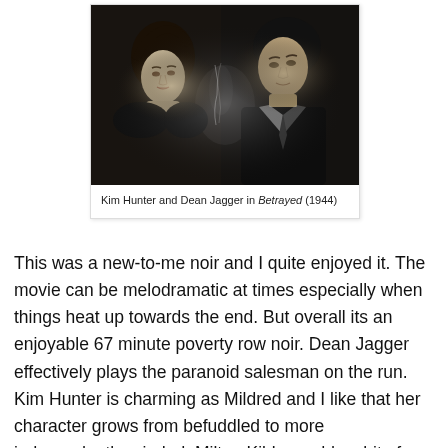[Figure (photo): Black and white still from the 1944 film Betrayed showing Kim Hunter and Dean Jagger facing each other, with smoke visible between them.]
Kim Hunter and Dean Jagger in Betrayed (1944)
This was a new-to-me noir and I quite enjoyed it. The movie can be melodramatic at times especially when things heat up towards the end. But overall its an enjoyable 67 minute poverty row noir. Dean Jagger effectively plays the paranoid salesman on the run. Kim Hunter is charming as Mildred and I like that her character grows from befuddled to more independently minded. Milton Kibbee adds a bit of dark humor at the beginning of the film. Neil Hamilton, a familiar face in the 1930s and 1940s, plays Lieutenant Blake.